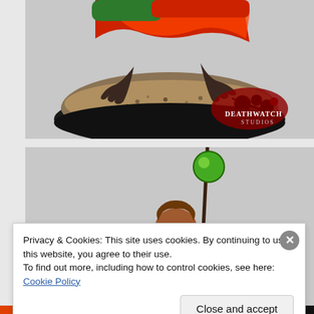[Figure (photo): Close-up of a painted miniature figure base — a black round base with textured sandy/gravel basing material. Clawed feet and a red lava-textured body of a monster figure are visible at the top. A DeathWatch Studios logo with blood splatter is visible in the lower right of the image.]
[Figure (photo): Painted miniature figure of a small creature or goblin holding a staff topped with a green glowing ball/orb. The figure has brown robes and green glowing eyes. The background is a light grey.]
Privacy & Cookies: This site uses cookies. By continuing to use this website, you agree to their use.
To find out more, including how to control cookies, see here: Cookie Policy
Close and accept